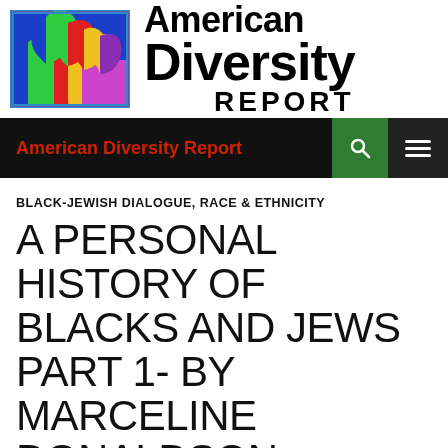[Figure (logo): American Diversity Report logo with colorful silhouette faces on blue/purple/green/red/yellow background]
American Diversity Report
BLACK-JEWISH DIALOGUE, RACE & ETHNICITY
A PERSONAL HISTORY OF BLACKS AND JEWS PART 1- BY MARCELINE DONALDSON
NOVEMBER 29, 2021   MARCELINE DONALDSON   LEAVE A COMMENT